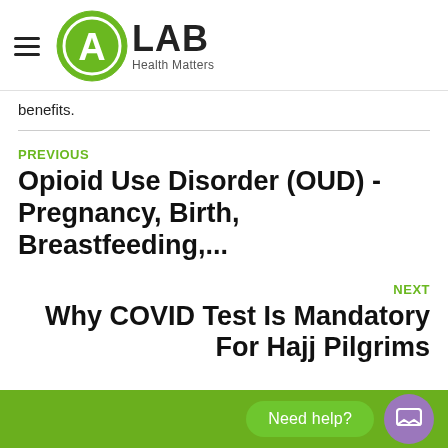ALAB Health Matters
benefits.
PREVIOUS
Opioid Use Disorder (OUD) - Pregnancy, Birth, Breastfeeding,...
NEXT
Why COVID Test Is Mandatory For Hajj Pilgrims
Need help?